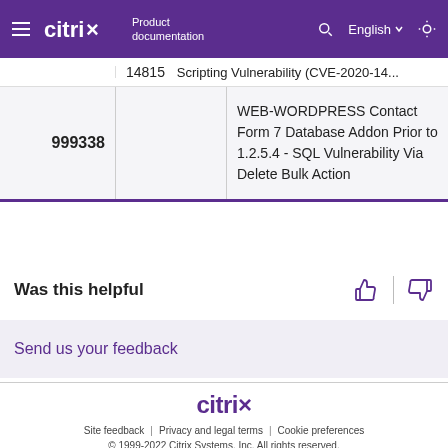Citrix Product documentation
|  |  | Rule Name |
| --- | --- | --- |
|  | 14815 | Scripting Vulnerability (CVE-2020-14... |
| 999338 |  | WEB-WORDPRESS Contact Form 7 Database Addon Prior to 1.2.5.4 - SQL Vulnerability Via Delete Bulk Action |
Was this helpful
Send us your feedback
Site feedback | Privacy and legal terms | Cookie preferences
© 1999-2022 Citrix Systems, Inc. All rights reserved.